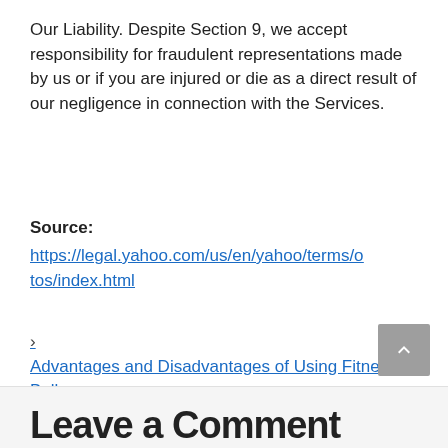Our Liability. Despite Section 9, we accept responsibility for fraudulent representations made by us or if you are injured or die as a direct result of our negligence in connection with the Services.
Source:
https://legal.yahoo.com/us/en/yahoo/terms/otos/index.html
Advantages and Disadvantages of Using Fitness Ball
Leave a Comment